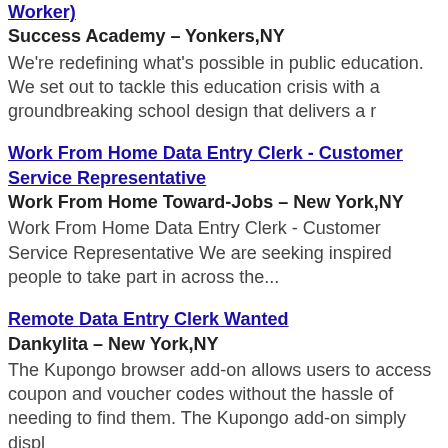Worker)
Success Academy – Yonkers,NY
We're redefining what's possible in public education. We set out to tackle this education crisis with a groundbreaking school design that delivers a r
Work From Home Data Entry Clerk - Customer Service Representative
Work From Home Toward-Jobs – New York,NY
Work From Home Data Entry Clerk - Customer Service Representative We are seeking inspired people to take part in across the...
Remote Data Entry Clerk Wanted
Dankylita – New York,NY
The Kupongo browser add-on allows users to access coupon and voucher codes without the hassle of needing to find them. The Kupongo add-on simply displ